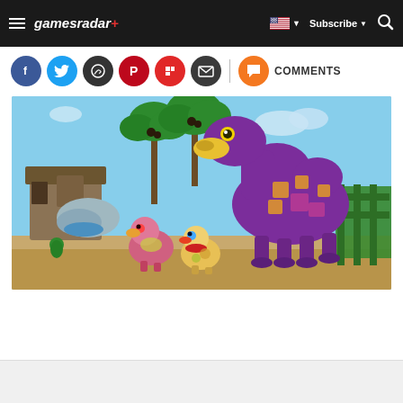gamesradar+ | Subscribe | Search
[Figure (screenshot): GamesRadar+ website screenshot showing navigation bar with hamburger menu, gamesradar+ logo, US flag dropdown, Subscribe button, and search icon]
[Figure (infographic): Social media sharing icons row: Facebook (blue), Twitter (light blue), WhatsApp (dark), Pinterest (red), Flipboard (red), Email (dark), divider, Comments (orange) with COMMENTS label]
[Figure (photo): Video game screenshot showing a colorful, toy-like scene with a large purple and yellow patterned camel character, smaller bird-like creatures, tropical palm trees, and a thatched village setting]